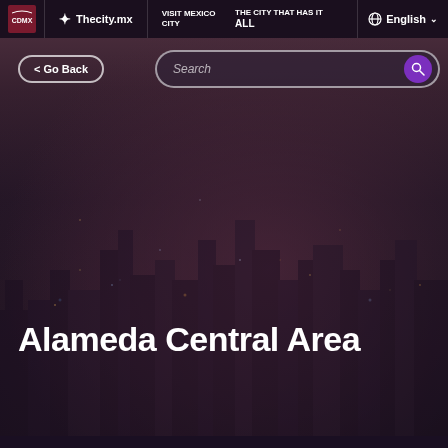Thecity.mx | VISIT MEXICO CITY THE CITY THAT HAS IT ALL | English
< Go Back
Search
[Figure (photo): Blurred aerial night cityscape of Mexico City with warm and cool toned city lights visible through a purple-brown dusk sky background]
Alameda Central Area